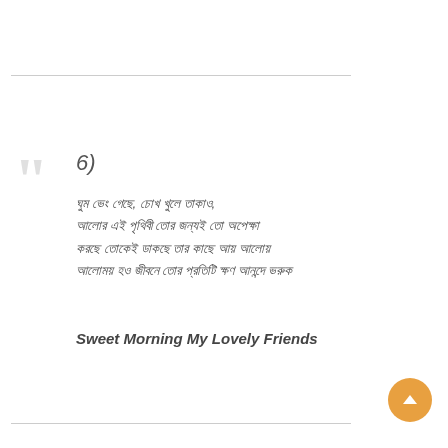6)
ঘুম ভেং গেছে, চোখ খুলে তাকাও, আলোর এই পৃথিবী তোর জন্যই তো অপেক্ষা করছে তোকেই ডাকছে তার কাছে আয় আলোয় আলোময় হও জীবনে তোর প্রতিটি ক্ষণ আনন্দে ভরুক
Sweet Morning My Lovely Friends